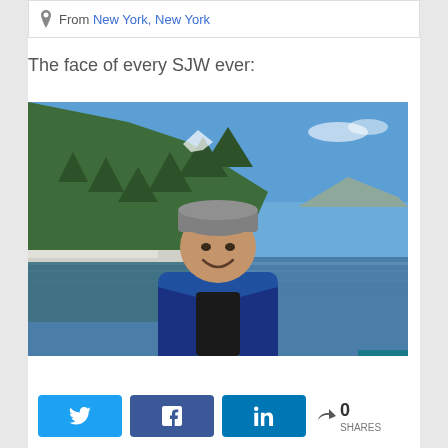From New York, New York
The face of every SJW ever:
[Figure (photo): Man smiling in a blue jacket and grey beanie hat, standing in front of a mountain lake with forested hills and blue sky in the background.]
0 SHARES